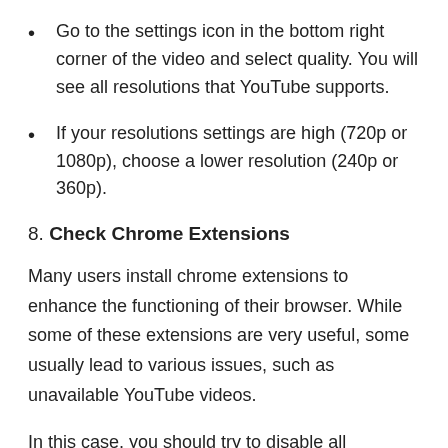Go to the settings icon in the bottom right corner of the video and select quality. You will see all resolutions that YouTube supports.
If your resolutions settings are high (720p or 1080p), choose a lower resolution (240p or 360p).
8. Check Chrome Extensions
Many users install chrome extensions to enhance the functioning of their browser. While some of these extensions are very useful, some usually lead to various issues, such as unavailable YouTube videos.
In this case, you should try to disable all extensions to correct this glitch.